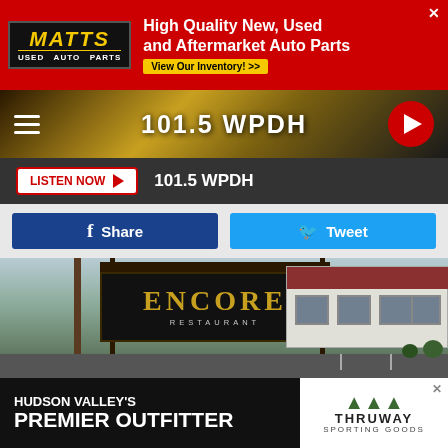[Figure (screenshot): Matt's Used Auto Parts advertisement banner. Red background with black logo box. Text: MATTS USED AUTO PARTS - High Quality New, Used and Aftermarket Auto Parts. View Our Inventory >>]
[Figure (screenshot): 101.5 WPDH radio station header with gold/dark background, hamburger menu, station name, and red play button circle]
[Figure (screenshot): Listen Now button bar with 101.5 WPDH label on dark background]
[Figure (screenshot): Facebook Share and Twitter Tweet buttons]
[Figure (photo): Encore Restaurant exterior photo showing sign with gold text on black board and restaurant building with dark red roof and parking lot]
[Figure (screenshot): Hudson Valley's Premier Outfitter advertisement for Thruway Sporting Goods]